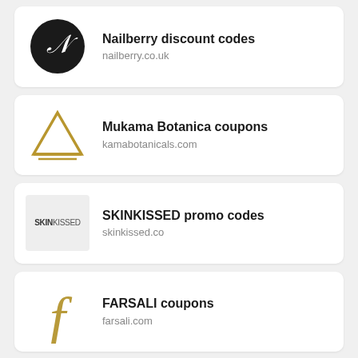[Figure (logo): Nailberry logo: black circle with white cursive N script]
Nailberry discount codes
nailberry.co.uk
[Figure (logo): Mukama Botanica logo: gold triangle outline with double base line]
Mukama Botanica coupons
kamabotanicals.com
[Figure (logo): SKINKISSED logo: grey rectangle with SKINKISSED text]
SKINKISSED promo codes
skinkissed.co
[Figure (logo): FARSALI logo: gold cursive f letter]
FARSALI coupons
farsali.com